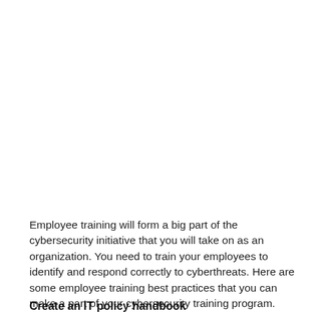Employee training will form a big part of the cybersecurity initiative that you will take on as an organization. You need to train your employees to identify and respond correctly to cyberthreats. Here are some employee training best practices that you can make a part of your cybersecurity training program.
Create an IT policy handbook